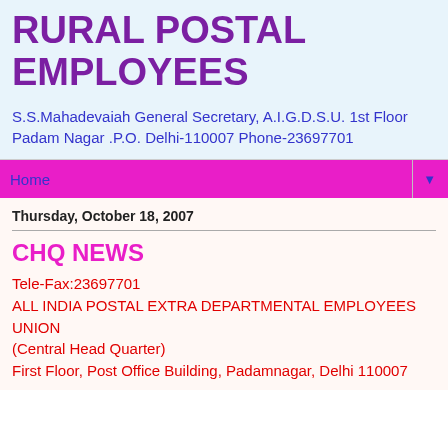RURAL POSTAL EMPLOYEES
S.S.Mahadevaiah General Secretary, A.I.G.D.S.U. 1st Floor Padam Nagar .P.O. Delhi-110007 Phone-23697701
Home
Thursday, October 18, 2007
CHQ NEWS
Tele-Fax:23697701
ALL INDIA POSTAL EXTRA DEPARTMENTAL EMPLOYEES UNION
(Central Head Quarter)
First Floor, Post Office Building, Padamnagar, Delhi 110007